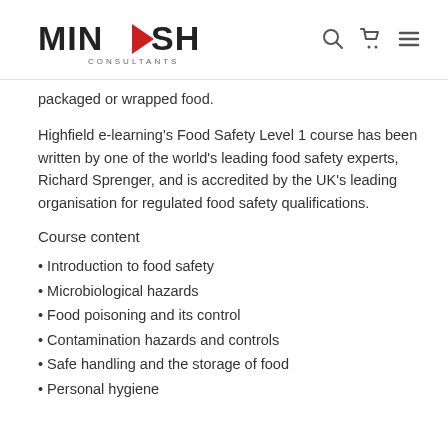MINDSHIFT CONSULTANTS
packaged or wrapped food.
Highfield e-learning's Food Safety Level 1 course has been written by one of the world's leading food safety experts, Richard Sprenger, and is accredited by the UK's leading organisation for regulated food safety qualifications.
Course content
Introduction to food safety
Microbiological hazards
Food poisoning and its control
Contamination hazards and controls
Safe handling and the storage of food
Personal hygiene